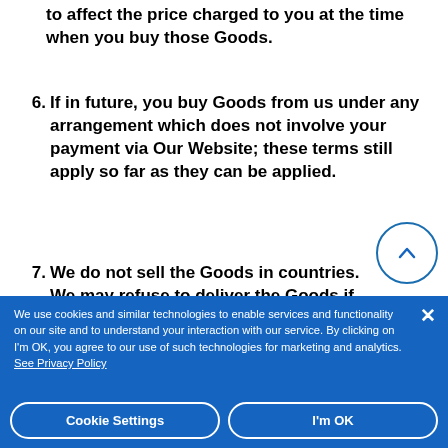to affect the price charged to you at the time when you buy those Goods.
6. If in future, you buy Goods from us under any arrangement which does not involve your payment via Our Website; these terms still apply so far as they can be applied.
7. We do not sell the Goods in countries. We may refuse to deliver the Goods if you live in
We use cookies and similar technologies to enable services and functionality on our site and to understand your interaction with our service. By clicking on I'm OK, you agree to our use of such technologies for marketing and analytics. See Privacy Policy